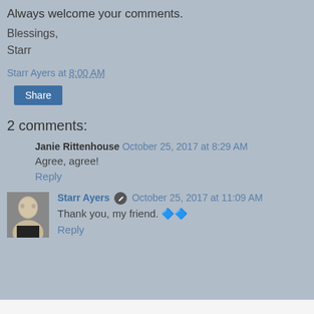...always welcome your comments.
Blessings,
Starr
Starr Ayers at 8:00 AM
Share
2 comments:
Janie Rittenhouse  October 25, 2017 at 8:29 AM
Agree, agree!
Reply
Starr Ayers  October 25, 2017 at 11:09 AM
Thank you, my friend. ❤️
Reply